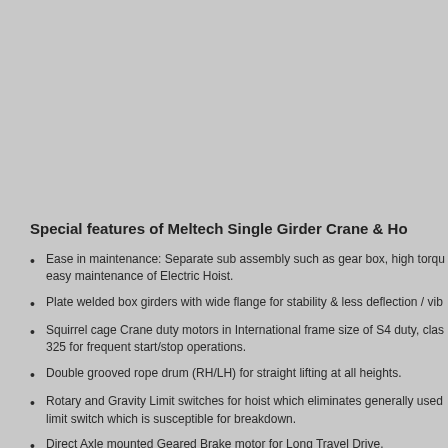Special features of Meltech Single Girder Crane & Ho
Ease in maintenance: Separate sub assembly such as gear box, high torqu easy maintenance of Electric Hoist.
Plate welded box girders with wide flange for stability & less deflection / vib
Squirrel cage Crane duty motors in International frame size of S4 duty, clas 325 for frequent start/stop operations.
Double grooved rope drum (RH/LH) for straight lifting at all heights.
Rotary and Gravity Limit switches for hoist which eliminates generally used limit switch which is susceptible for breakdown.
Direct Axle mounted Geared Brake motor for Long Travel Drive.